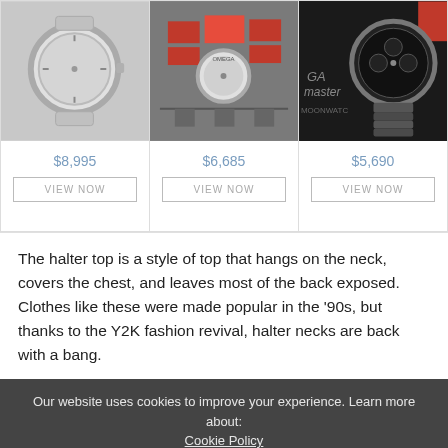[Figure (photo): Three luxury watches displayed in a product grid. Left: silver watch with bracelet on white background. Center: Omega watch with red boxes in display case. Right: Omega Speedmaster Moonwatch on dark background.]
$8,995
VIEW NOW
$6,685
VIEW NOW
$5,690
VIEW NOW
The halter top is a style of top that hangs on the neck, covers the chest, and leaves most of the back exposed. Clothes like these were made popular in the '90s, but thanks to the Y2K fashion revival, halter necks are back with a bang.
Our website uses cookies to improve your experience. Learn more about: Cookie Policy
Accept